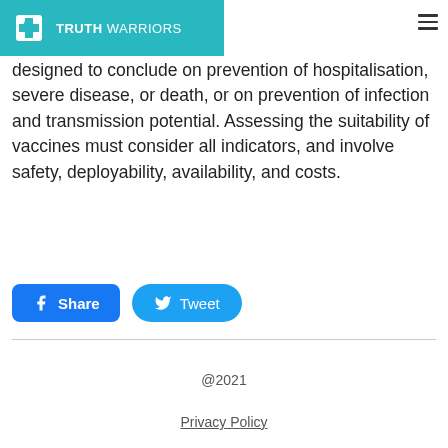TRUTH WARRIORS
designed to conclude on prevention of hospitalisation, severe disease, or death, or on prevention of infection and transmission potential. Assessing the suitability of vaccines must consider all indicators, and involve safety, deployability, availability, and costs.
[Figure (other): Share button (Facebook) and Tweet button (Twitter)]
@2021
Privacy Policy